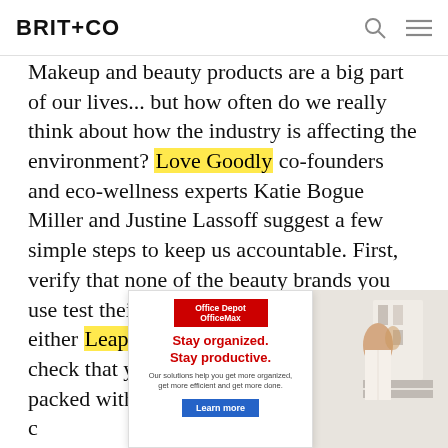BRIT+CO
Makeup and beauty products are a big part of our lives... but how often do we really think about how the industry is affecting the environment? Love Goodly co-founders and eco-wellness experts Katie Bogue Miller and Justine Lassoff suggest a few simple steps to keep us accountable. First, verify that none of the beauty brands you use test their products on animals, using either Leaping Bunny or PETA. Then, check that your favorite brands aren't packed with toxic chemicals. Update your c[ontent obscured by ad]ma or Hurra[content obscured]your resear[content obscured]
[Figure (other): Office Depot OfficeMax advertisement overlay: logo, 'Stay organized. Stay productive.' headline in red, body copy, and Learn more button. Photo of woman organizing shelves on right side.]